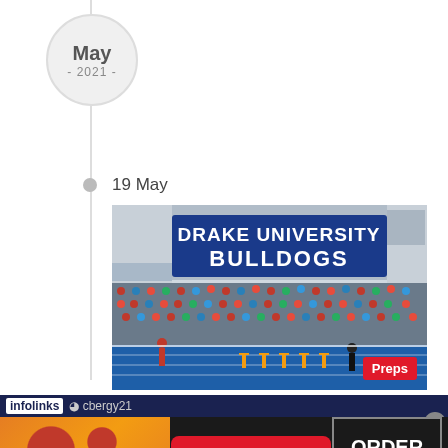May - 2021 -
19 May
[Figure (photo): Drake University Bulldogs stadium photo showing a packed crowd in the stands and a blue track with hurdles in the foreground. A large blue scoreboard reads 'DRAKE UNIVERSITY BULLDOGS'. Athletes/officials are visible on the track.]
Preps
infolinks  cbergy21
[Figure (infographic): Seamless food delivery advertisement showing pizza on the left, a red 'seamless' pill button in the center, and 'ORDER NOW' text in a box on the right, all on a dark background.]